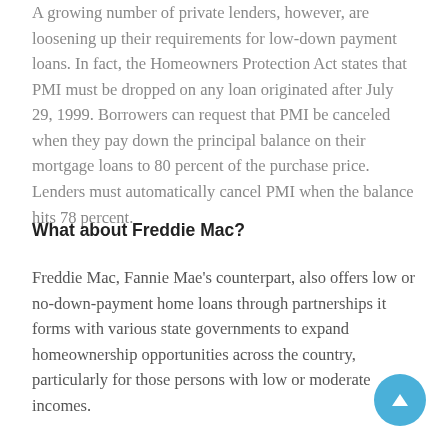A growing number of private lenders, however, are loosening up their requirements for low-down payment loans. In fact, the Homeowners Protection Act states that PMI must be dropped on any loan originated after July 29, 1999. Borrowers can request that PMI be canceled when they pay down the principal balance on their mortgage loans to 80 percent of the purchase price. Lenders must automatically cancel PMI when the balance hits 78 percent.
What about Freddie Mac?
Freddie Mac, Fannie Mae's counterpart, also offers low or no-down-payment home loans through partnerships it forms with various state governments to expand homeownership opportunities across the country, particularly for those persons with low or moderate incomes.